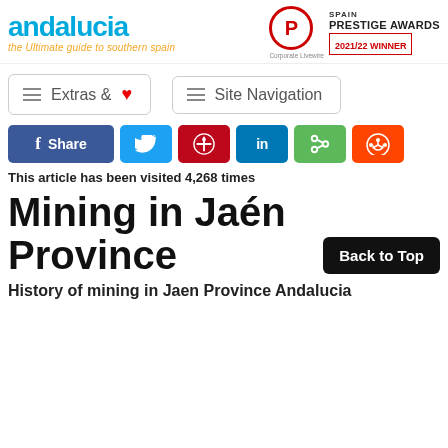andalucia – the Ultimate guide to southern spain | Spain Prestige Awards 2021/22 Winner
[Figure (infographic): Extras & favorites menu button with hamburger icon and heart]
[Figure (infographic): Site Navigation menu button with hamburger icon]
[Figure (infographic): Social share bar with Facebook Share, Twitter, Pinterest, LinkedIn, ShareThis, Reddit buttons]
This article has been visited 4,268 times
Mining in Jaén Province
Back to Top
History of mining in Jaen Province Andalucia